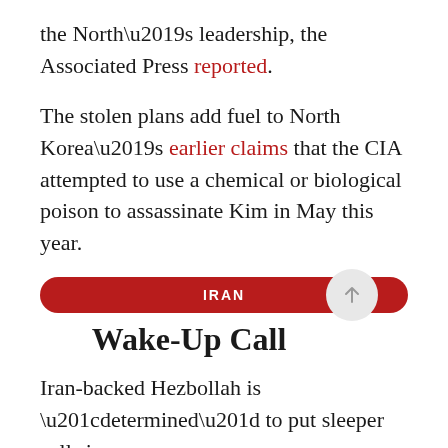the North's leadership, the Associated Press reported.
The stolen plans add fuel to North Korea's earlier claims that the CIA attempted to use a chemical or biological poison to assassinate Kim in May this year.
IRAN
Wake-Up Call
Iran-backed Hezbollah is “determined” to put sleeper cells in